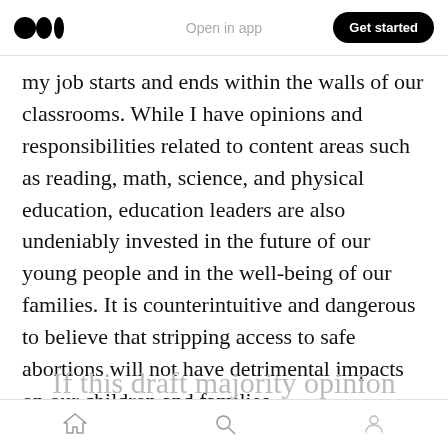Open in app | Get started
my job starts and ends within the walls of our classrooms. While I have opinions and responsibilities related to content areas such as reading, math, science, and physical education, education leaders are also undeniably invested in the future of our young people and in the well-being of our families. It is counterintuitive and dangerous to believe that stripping access to safe abortions will not have detrimental impacts on our children and families.
If this draft majority opinion